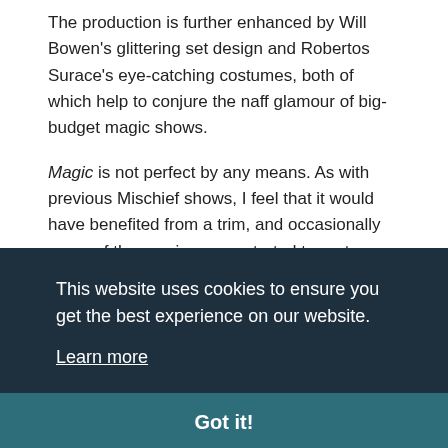The production is further enhanced by Will Bowen's glittering set design and Robertos Surace's eye-catching costumes, both of which help to conjure the naff glamour of big-budget magic shows.
Magic is not perfect by any means. As with previous Mischief shows, I feel that it would have benefited from a trim, and occasionally some of the running gags started to grate on
This website uses cookies to ensure you get the best experience on our website.
Learn more
Got it!